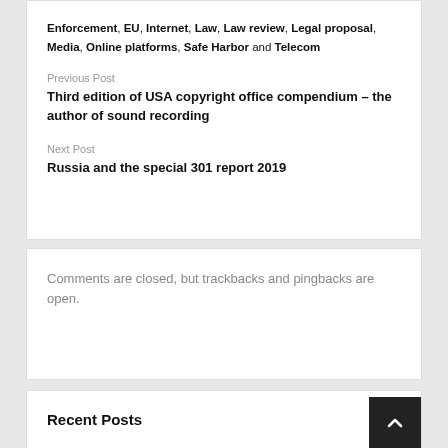Enforcement, EU, Internet, Law, Law review, Legal proposal, Media, Online platforms, Safe Harbor and Telecom
Previous Post
Third edition of USA copyright office compendium – the author of sound recording
Next Post
Russia and the special 301 report 2019
Comments are closed, but trackbacks and pingbacks are open.
Recent Posts